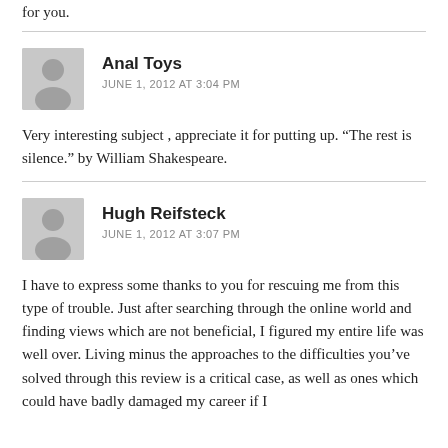for you.
Anal Toys
JUNE 1, 2012 AT 3:04 PM
Very interesting subject , appreciate it for putting up. “The rest is silence.” by William Shakespeare.
Hugh Reifsteck
JUNE 1, 2012 AT 3:07 PM
I have to express some thanks to you for rescuing me from this type of trouble. Just after searching through the online world and finding views which are not beneficial, I figured my entire life was well over. Living minus the approaches to the difficulties you’ve solved through this review is a critical case, as well as ones which could have badly damaged my career if I